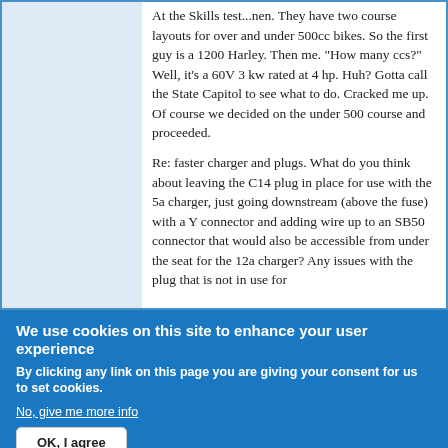At the Skills test...nen. They have two course layouts for over and under 500cc bikes. So the first guy is a 1200 Harley. Then me. "How many ccs?" Well, it's a 60V 3 kw rated at 4 hp. Huh? Gotta call the State Capitol to see what to do. Cracked me up. Of course we decided on the under 500 course and proceeded.
Re: faster charger and plugs. What do you think about leaving the C14 plug in place for use with the 5a charger, just going downstream (above the fuse) with a Y connector and adding wire up to an SB50 connector that would also be accessible from under the seat for the 12a charger? Any issues with the plug that is not in use for...
We use cookies on this site to enhance your user experience
By clicking any link on this page you are giving your consent for us to set cookies.
No, give me more info
OK, I agree